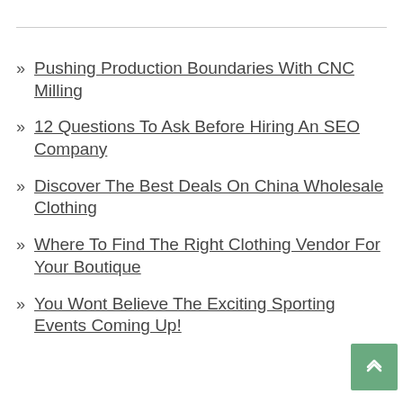Pushing Production Boundaries With CNC Milling
12 Questions To Ask Before Hiring An SEO Company
Discover The Best Deals On China Wholesale Clothing
Where To Find The Right Clothing Vendor For Your Boutique
You Wont Believe The Exciting Sporting Events Coming Up!